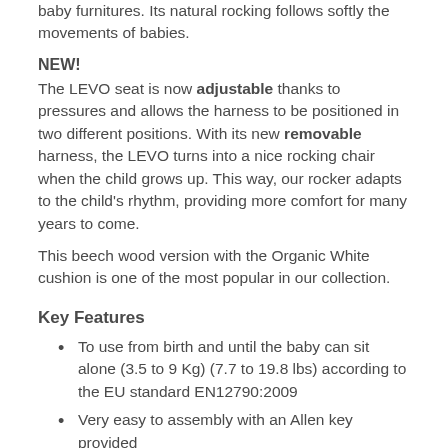baby furnitures. Its natural rocking follows softly the movements of babies.
NEW!
The LEVO seat is now adjustable thanks to pressures and allows the harness to be positioned in two different positions. With its new removable harness, the LEVO turns into a nice rocking chair when the child grows up. This way, our rocker adapts to the child's rhythm, providing more comfort for many years to come.
This beech wood version with the Organic White cushion is one of the most popular in our collection.
Key Features
To use from birth and until the baby can sit alone (3.5 to 9 Kg) (7.7 to 19.8 lbs) according to the EU standard EN12790:2009
Very easy to assembly with an Allen key provided
Adjustable seat by means of pressure: two